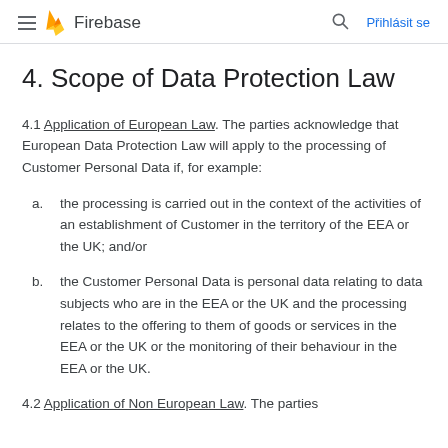Firebase — Přihlásit se
4. Scope of Data Protection Law
4.1 Application of European Law. The parties acknowledge that European Data Protection Law will apply to the processing of Customer Personal Data if, for example:
a. the processing is carried out in the context of the activities of an establishment of Customer in the territory of the EEA or the UK; and/or
b. the Customer Personal Data is personal data relating to data subjects who are in the EEA or the UK and the processing relates to the offering to them of goods or services in the EEA or the UK or the monitoring of their behaviour in the EEA or the UK.
4.2 Application of Non European Law. The parties